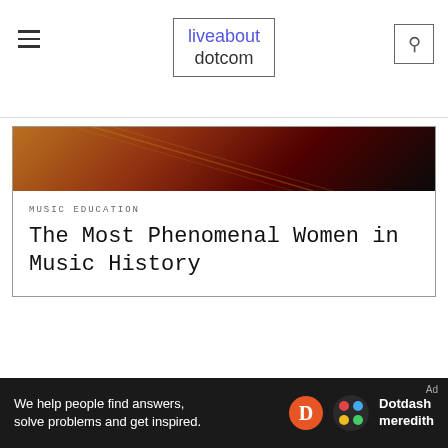liveabout dotcom
[Figure (photo): Partial image of a performer on stage with warm/dark tones, red and golden colors visible — top portion of article card 1]
MUSIC EDUCATION
The Most Phenomenal Women in Music History
[Figure (photo): A female singer performing on stage, holding a microphone, wearing a sparkly silver/grey dress, with curly brown hair, against a dark background — Mariah Carey style performer]
Ad
We help people find answers, solve problems and get inspired.
Dotdash meredith